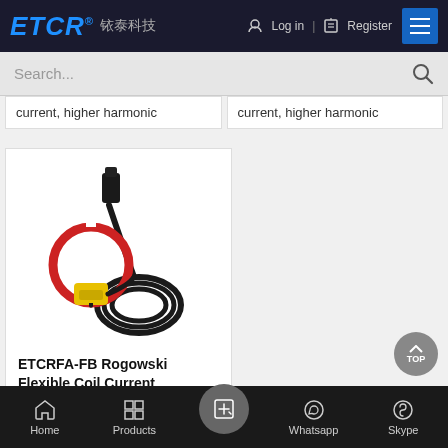ETCR® 铱泰科技 | Log in | Register
Search...
current, higher harmonic
current, higher harmonic
[Figure (photo): ETCRFA-FB Rogowski Flexible Coil Current sensor product photo showing a red circular flexible coil with yellow connector and black cable]
ETCRFA-FB Rogowski Flexible Coil Current
Home | Products | [center button] | Whatsapp | Skype